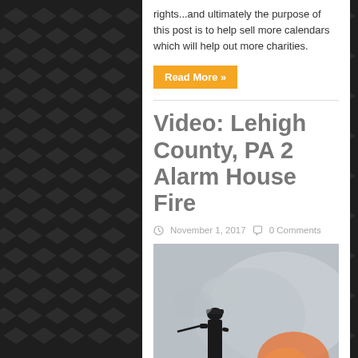rights...and ultimately the purpose of this post is to help sell more calendars which will help out more charities.
Read More »
Video: Lehigh County, PA 2 Alarm House Fire
November 1, 2017   0 Comments
[Figure (photo): Silhouette of a firefighter standing on a rooftop amid smoke and orange flames during a house fire.]